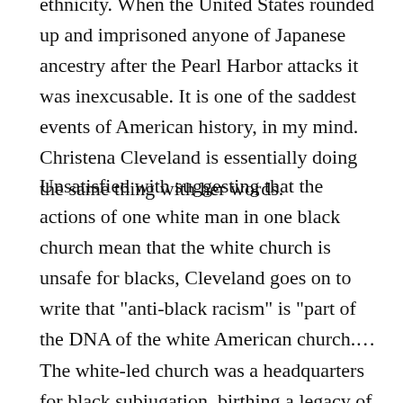ethnicity. When the United States rounded up and imprisoned anyone of Japanese ancestry after the Pearl Harbor attacks it was inexcusable. It is one of the saddest events of American history, in my mind. Christena Cleveland is essentially doing the same thing with her words.
Unsatisfied with suggesting that the actions of one white man in one black church mean that the white church is unsafe for blacks, Cleveland goes on to write that "anti-black racism" is "part of the DNA of the white American church.… The white-led church was a headquarters for black subjugation, birthing a legacy of racial inequality that has long shaped white Christianity." Wow… With a few pecks on her keyboard Cleveland wipes out every white church that opposed